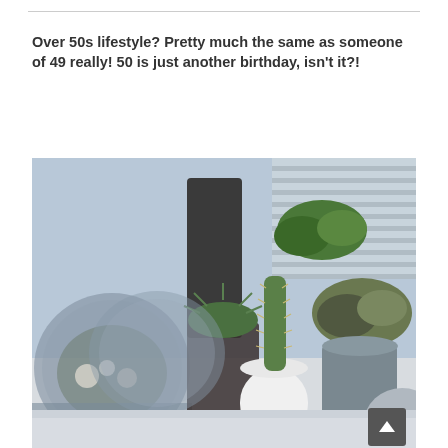Over 50s lifestyle? Pretty much the same as someone of 49 really! 50 is just another birthday, isn't it?!
[Figure (photo): A close-up photograph of various succulents and cacti in decorative pots and glass terrariums arranged on a white surface, with window blinds visible in the background.]